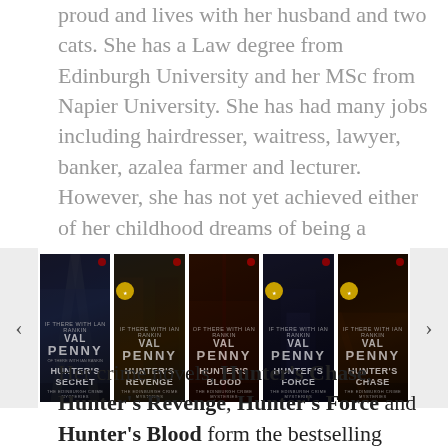proud and lives with her husband and two cats. She has a Law degree from Edinburgh University and her MSc from Napier University. She has had many jobs including hairdresser, waitress, lawyer, banker, azalea farmer and lecturer. However, she has not yet achieved either of her childhood dreams of being a ballerina or owning a candy store. Until those dreams come true, she has turned her hand to writing poetry, short stories and novels.
[Figure (photo): A carousel of five book covers by Val Penny in the Edinburgh Crime Mysteries series: Hunter's Secret, Hunter's Revenge, Hunter's Blood, Hunter's Force, Hunter's Chase. Each cover shows a dark atmospheric street scene with the author name VAL PENNY and the book title prominently displayed.]
Her crime novels, Hunter's Chase, Hunter's Revenge, Hunter's Force and Hunter's Blood form the bestselling series The Edinburgh Crime Mysteries. They